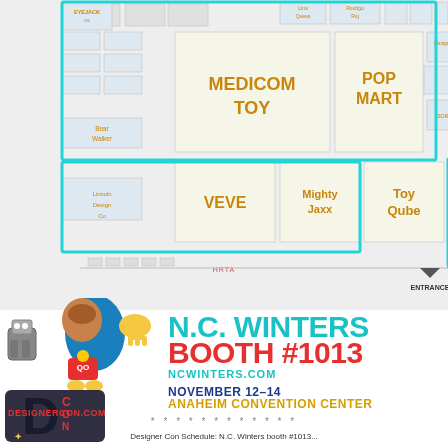[Figure (map): DesignerCon floor map showing booth layout with highlighted path. Visible booths include EYEJACK, MEDICOM TOY, VEVE, Mighty Jaxx, Bear Walker, Lincoln Design Co, POP MART, Toy Qube, 3DRetro, Rodrigo Roj, Lina Quesa, Designerikon, Tristan Eaton, Vaitro, Stanley King, and others. Booth #1013 is highlighted with a teal/cyan border path.]
[Figure (logo): DesignerCon mascot characters and D CON logo with designercon.com URL below]
N.C. WINTERS
BOOTH #1013
NCWINTERS.COM
NOVEMBER 12–14
ANAHEIM CONVENTION CENTER
* * * * * * * * * * * *
Designer Con Schedule: N.C. Winters booth #10...